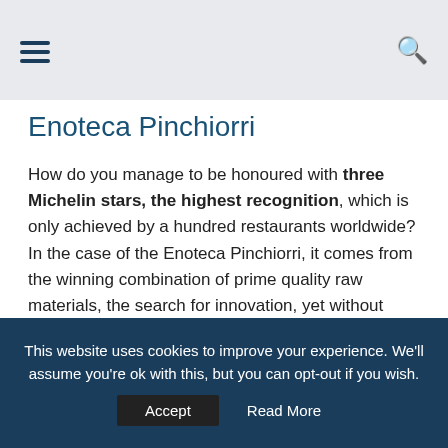≡  🔍
Enoteca Pinchiorri
How do you manage to be honoured with three Michelin stars, the highest recognition, which is only achieved by a hundred restaurants worldwide? In the case of the Enoteca Pinchiorri, it comes from the winning combination of prime quality raw materials, the search for innovation, yet without forgetting the territory's (great) culinary tradition, obsessive attention to every detail and an unrivalled wine menu, which includes highly prized labels, along with others that are little known but equally interesting. Then we can add the fact that the restaurant is located inside the Eighteenth-century
This website uses cookies to improve your experience. We'll assume you're ok with this, but you can opt-out if you wish.
Accept   Read More